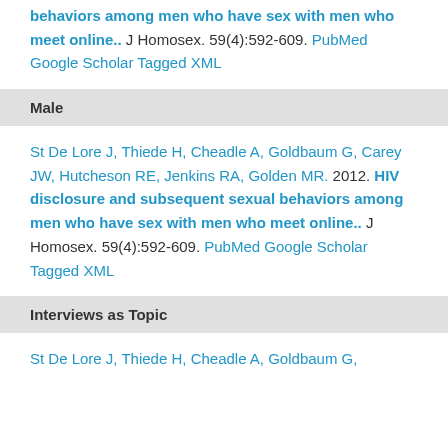behaviors among men who have sex with men who meet online.. J Homosex. 59(4):592-609. PubMed  Google Scholar  Tagged  XML
Male
St De Lore J, Thiede H, Cheadle A, Goldbaum G, Carey JW, Hutcheson RE, Jenkins RA, Golden MR. 2012.  HIV disclosure and subsequent sexual behaviors among men who have sex with men who meet online.. J Homosex. 59(4):592-609. PubMed  Google Scholar  Tagged  XML
Interviews as Topic
St De Lore J, Thiede H, Cheadle A, Goldbaum G,